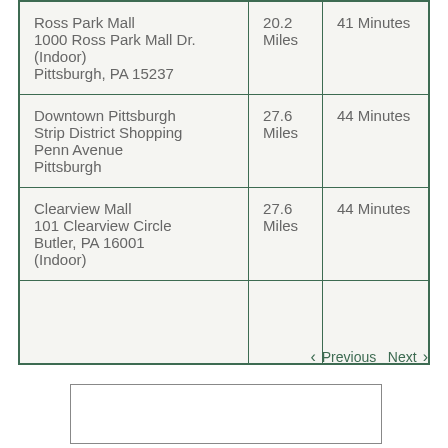| Location | Distance | Time |
| --- | --- | --- |
| Ross Park Mall
1000 Ross Park Mall Dr.
(Indoor)
Pittsburgh, PA 15237 | 20.2 Miles | 41 Minutes |
| Downtown Pittsburgh
Strip District Shopping
Penn Avenue
Pittsburgh | 27.6 Miles | 44 Minutes |
| Clearview Mall
101 Clearview Circle
Butler, PA 16001
(Indoor) | 27.6 Miles | 44 Minutes |
|  |  |  |
< Previous   Next >